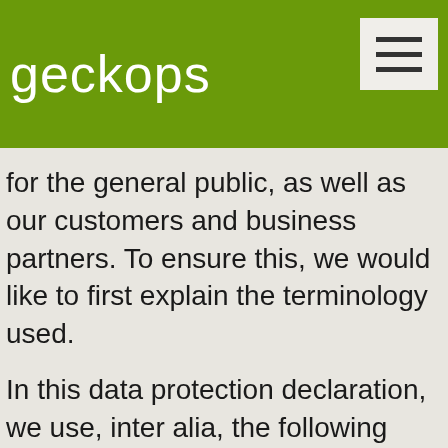geckops
for the general public, as well as our customers and business partners. To ensure this, we would like to first explain the terminology used.
In this data protection declaration, we use, inter alia, the following terms:
a) Personal data
Personal data means any information relating to an identified or identifiable natural person (“data subject”). An identifiable natural person is one